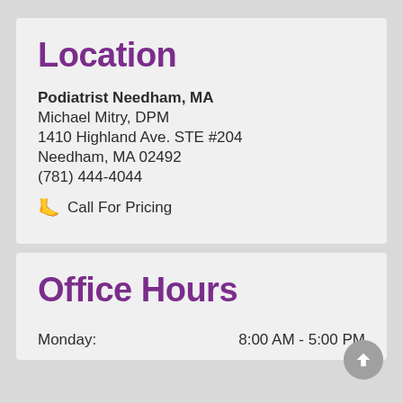Location
Podiatrist Needham, MA
Michael Mitry, DPM
1410 Highland Ave. STE #204
Needham, MA 02492
(781) 444-4044
🦶 Call For Pricing
Office Hours
Monday: 8:00 AM - 5:00 PM